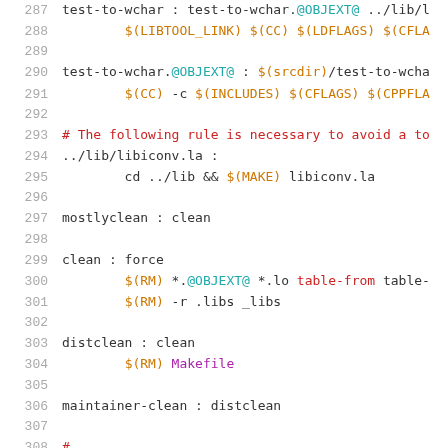Code listing lines 287-308, Makefile source with line numbers
287   test-to-wchar : test-to-wchar.@OBJEXT@ ../lib/l
288           $(LIBTOOL_LINK) $(CC) $(LDFLAGS) $(CFLA
289
290   test-to-wchar.@OBJEXT@ : $(srcdir)/test-to-wcha
291           $(CC) -c $(INCLUDES) $(CFLAGS) $(CPPFLA
292
293   # The following rule is necessary to avoid a to
294   ../lib/libiconv.la :
295           cd ../lib && $(MAKE) libiconv.la
296
297   mostlyclean : clean
298
299   clean : force
300           $(RM) *.@OBJEXT@ *.lo table-from table-
301           $(RM) -r .libs _libs
302
303   distclean : clean
304           $(RM) Makefile
305
306   maintainer-clean : distclean
307
308   # ...